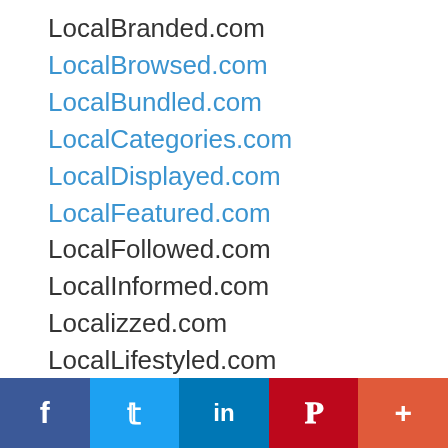LocalBranded.com
LocalBrowsed.com
LocalBundled.com
LocalCategories.com
LocalDisplayed.com
LocalFeatured.com
LocalFollowed.com
LocalInformed.com
Localizzed.com
LocalLifestyled.com
LocalLiked.com
LocalLived.com
LocalMarketed.com
LocalNetwork.com
LocalOrganized.com
LocalPartnered